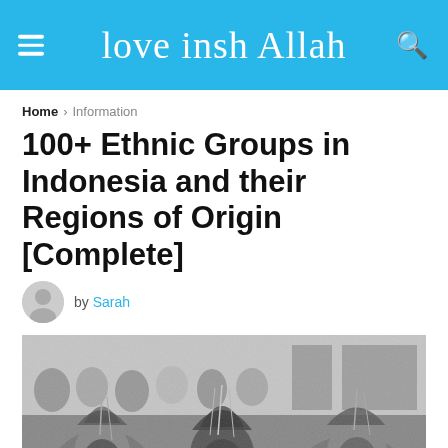love insh Allah
Home > Information
100+ Ethnic Groups in Indonesia and their Regions of Origin [Complete]
by Sarah
[Figure (photo): Black and white photograph of Indonesian women in traditional dress and headdresses, bowing or praying, with a crowd in the background]